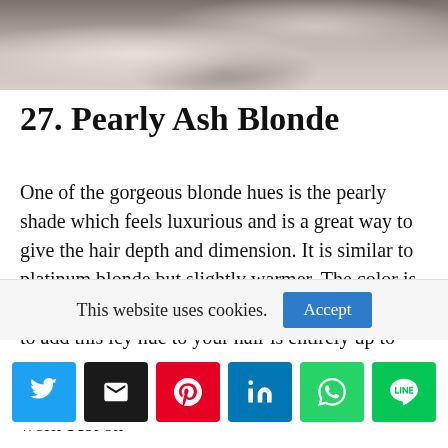[Figure (photo): Close-up photo of pearly ash blonde wavy hair, silvery-gray tones]
27. Pearly Ash Blonde
One of the gorgeous blonde hues is the pearly shade which feels luxurious and is a great way to give the hair depth and dimension. It is similar to platinum blonde but slightly warmer. The color is also great for highlighting your hair texture. How to add this icy hue to your hair is entirely up to you, but you can combine pearl blonde with ash blonde for a pretty and subtle contrast. The colors work best on
This website uses cookies. Accept
Social share buttons: Twitter, Email, Pinterest, LinkedIn, WhatsApp, LINE